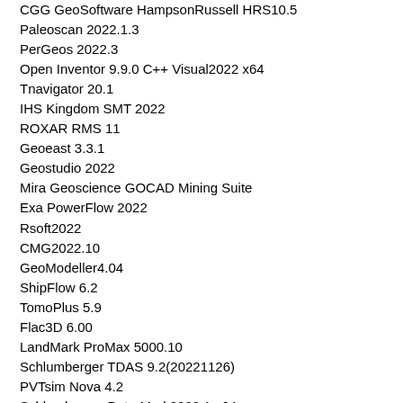CGG GeoSoftware HampsonRussell HRS10.5
Paleoscan 2022.1.3
PerGeos 2022.3
Open Inventor 9.9.0 C++ Visual2022 x64
Tnavigator 20.1
IHS Kingdom SMT 2022
ROXAR RMS 11
Geoeast 3.3.1
Geostudio 2022
Mira Geoscience GOCAD Mining Suite
Exa PowerFlow 2022
Rsoft2022
CMG2022.10
GeoModeller4.04
ShipFlow 6.2
TomoPlus 5.9
Flac3D 6.00
LandMark ProMax 5000.10
Schlumberger TDAS 9.2(20221126)
PVTsim Nova 4.2
Schlumberger PetroMod 2022.1 x64
HampsonRussell HRS10.4.2_Windows version
Enoffice 2022 Linux